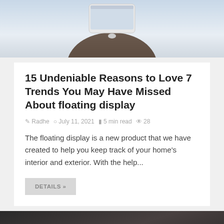[Figure (photo): Top portion of a photo showing a hand holding a smartphone against a light background]
15 Undeniable Reasons to Love 7 Trends You May Have Missed About floating display
Radhe  July 11, 2021  5 min read  28
The floating display is a new product that we have created to help you keep track of your home's interior and exterior. With the help...
DETAILS »
[Figure (photo): Bottom portion showing a dark gray background with a small figurine/key and a back-to-top arrow button in the lower right]